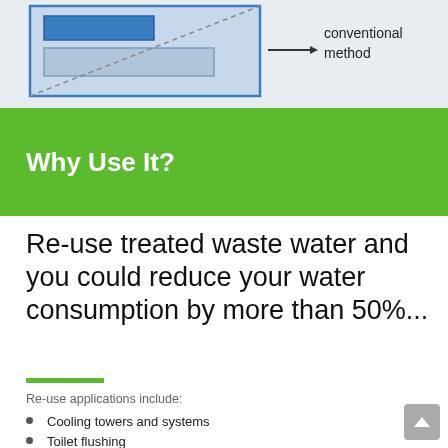[Figure (schematic): Partial diagram showing a technical schematic with blue-bordered boxes and a dotted line, with label 'conventional method' visible on the right side.]
Why Use It?
Re-use treated waste water and you could reduce your water consumption by more than 50%...
Re-use applications include:
Cooling towers and systems
Toilet flushing
Car, truck and tank washing
Landscape and golf irrigation